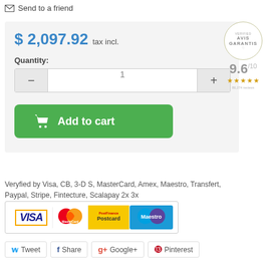Send to a friend
$ 2,097.92 tax incl.
[Figure (illustration): AVIS GARANTIS badge with 9.6/10 rating and 5 stars]
Quantity:
[Figure (infographic): Quantity selector with minus button, input showing 1, and plus button]
[Figure (infographic): Green Add to cart button with shopping cart icon]
Veryfied by Visa, CB, 3-D S, MasterCard, Amex, Maestro, Transfert, Paypal, Stripe, Fintecture, Scalapay 2x 3x
[Figure (infographic): Payment logos: Visa, MasterCard, Postcard, Maestro]
Tweet  Share  Google+  Pinterest